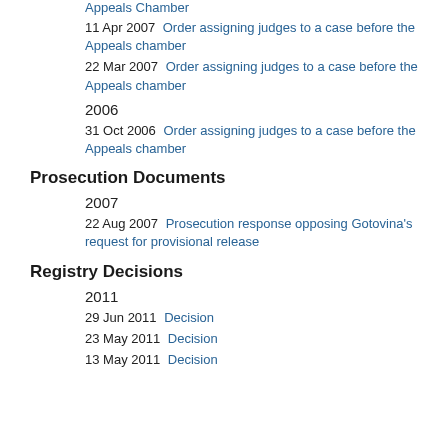Appeals Chamber
11 Apr 2007  Order assigning judges to a case before the Appeals chamber
22 Mar 2007  Order assigning judges to a case before the Appeals chamber
2006
31 Oct 2006  Order assigning judges to a case before the Appeals chamber
Prosecution Documents
2007
22 Aug 2007  Prosecution response opposing Gotovina's request for provisional release
Registry Decisions
2011
29 Jun 2011  Decision
23 May 2011  Decision
13 May 2011  Decision